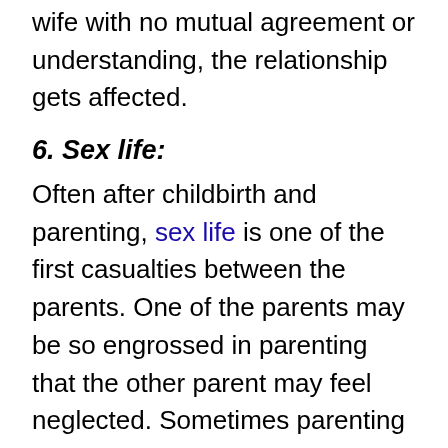parenting style between the husband and wife with no mutual agreement or understanding, the relationship gets affected.
6. Sex life:
Often after childbirth and parenting, sex life is one of the first casualties between the parents. One of the parents may be so engrossed in parenting that the other parent may feel neglected. Sometimes parenting takes a toll on energy levels, time, etc so much so that all the parent wants is some time to rest.
7. Couple time:
If its a nuclear family, the couple time exists